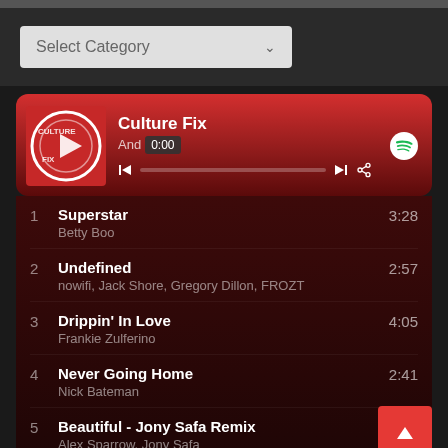[Figure (screenshot): Music player widget showing Culture Fix playlist with Spotify integration. Dropdown 'Select Category' at top. Player card with album art, title Culture Fix, progress bar at 0:00. Track list: 1. Superstar (Betty Boo) 3:28, 2. Undefined (nowifi, Jack Shore, Gregory Dillon, FROZT) 2:57, 3. Drippin' In Love (Frankie Zulferino) 4:05, 4. Never Going Home (Nick Bateman) 2:41, 5. Beautiful - Jony Safa Remix (Alex Sparrow, Jony Safa), 6. À tout jamais 3:46]